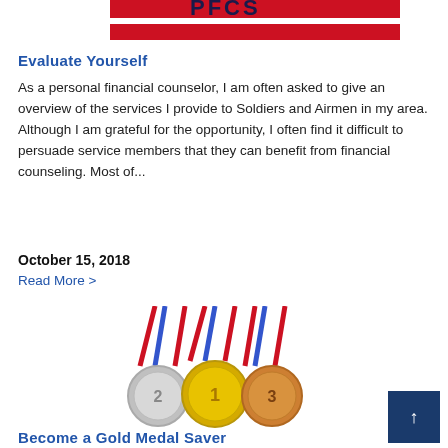[Figure (logo): PFCS logo with red banner bars at top of page]
Evaluate Yourself
As a personal financial counselor, I am often asked to give an overview of the services I provide to Soldiers and Airmen in my area. Although I am grateful for the opportunity, I often find it difficult to persuade service members that they can benefit from financial counseling. Most of...
October 15, 2018
Read More >
[Figure (illustration): Three Olympic-style medals (silver #2, gold #1, bronze #3) with red, white and blue ribbons]
Become a Gold Medal Saver